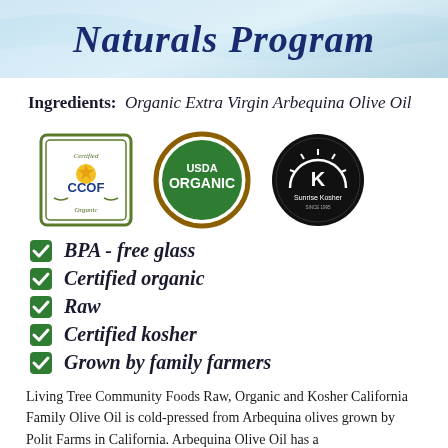Naturals Program
Ingredients: Organic Extra Virgin Arbequina Olive Oil
[Figure (logo): Three certification logos: CCOF Certified Organic, USDA Organic, Sunrise Kosher]
BPA - free glass
Certified organic
Raw
Certified kosher
Grown by family farmers
Living Tree Community Foods Raw, Organic and Kosher California Family Olive Oil is cold-pressed from Arbequina olives grown by Polit Farms in California. Arbequina Olive Oil has a